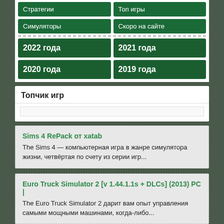Стратегии
Топ игры
Симуляторы
Скоро на сайте
2022 года
2021 года
2020 года
2019 года
Топчик игр
Sims 4 RePack от xatab
The Sims 4 — компьютерная игра в жанре симулятора жизни, четвёртая по счету из серии игр...
Euro Truck Simulator 2 [v 1.44.1.1s + DLCs] (2013) PC |
The Euro Truck Simulator 2 дарит вам опыт управления самыми мощными машинами, когда-либо...